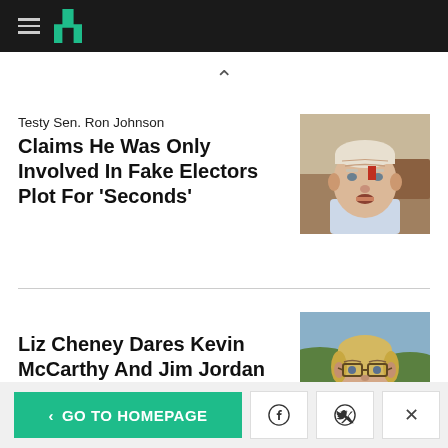HuffPost navigation header
Testy Sen. Ron Johnson Claims He Was Only Involved In Fake Electors Plot For 'Seconds'
[Figure (photo): Photo of Sen. Ron Johnson, older white man with white hair, outdoors at what appears to be a fair or event]
Liz Cheney Dares Kevin McCarthy And Jim Jordan To Subpoena Her
[Figure (photo): Photo of Liz Cheney, blonde woman wearing glasses and a tan blazer, standing in a green field]
< GO TO HOMEPAGE | Facebook share | Twitter share | Close